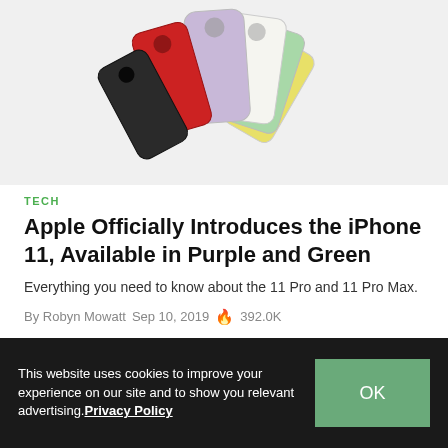[Figure (photo): Multiple iPhone 11 devices shown from the back, fanned out in various colors including purple, black, red, white, yellow, and mint green]
TECH
Apple Officially Introduces the iPhone 11, Available in Purple and Green
Everything you need to know about the 11 Pro and 11 Pro Max.
By Robyn Mowatt  Sep 10, 2019  🔥 392.0K
[Figure (photo): Partial image of an ornate wooden headboard with carved decorative scrollwork, background shows wood-paneled wall]
This website uses cookies to improve your experience on our site and to show you relevant advertising. Privacy Policy